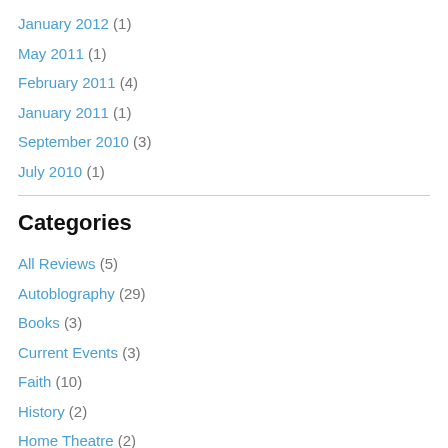January 2012 (1)
May 2011 (1)
February 2011 (4)
January 2011 (1)
September 2010 (3)
July 2010 (1)
Categories
All Reviews (5)
Autoblography (29)
Books (3)
Current Events (3)
Faith (10)
History (2)
Home Theatre (2)
Jesus Movies (4)
Journalism (4)
Movies (9)